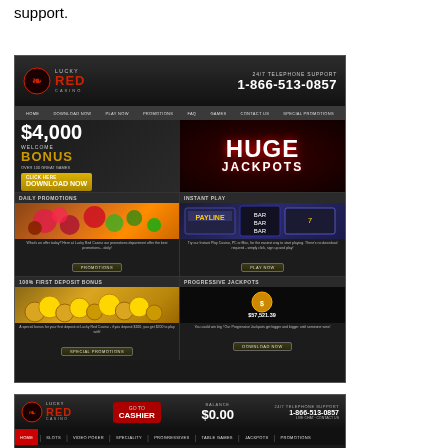support.
[Figure (screenshot): Lucky Red Casino website screenshot showing homepage with $4,000 welcome bonus, Huge Jackpots banner, Daily Promotions, Instant Play, 100% First Deposit Bonus, and Progressive Jackpots sections. Phone: 1-866-513-0857.]
[Figure (screenshot): Lucky Red Casino logged-in view showing header with logo, Go To Cashier button, balance $0.00, and 24/7 phone support 1-866-513-0857. Navigation: Home, Slots, Video Poker, Speciality, Progressives, Table Games, Jackpots, Promotions.]